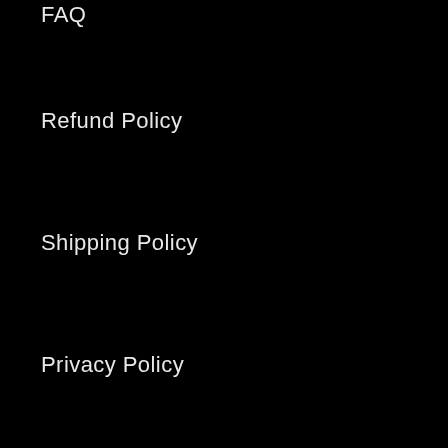FAQ
Refund Policy
Shipping Policy
Privacy Policy
Terms & Conditions
About Us
Payment Options